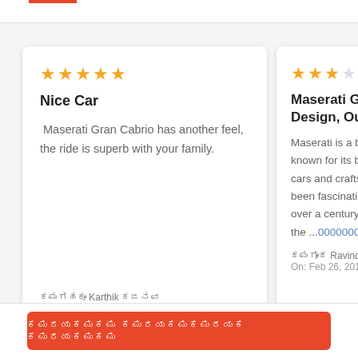Nice Car — 5 stars review card
Nice Car
Maserati Gran Cabrio has another feel, the ride is superb with your family.
ಬಳಕೆದ Karthik ಆರ್ On: Feb 07, 2020 | 37 Views
Maserati Gran ... Design, Out-da...
Maserati is a bra... known for its blaz... cars and craftsma... been fascinating ... over a century. Th... the ...ಓದಿರಿ ಮ...
ಬಳಕೆ Ravinder On: Feb 26, 2018 | 55...
ಎಲ್ಲಾ ವಿಮರ್ಶೆಗಳನ್ನು ಓದಿರಿ